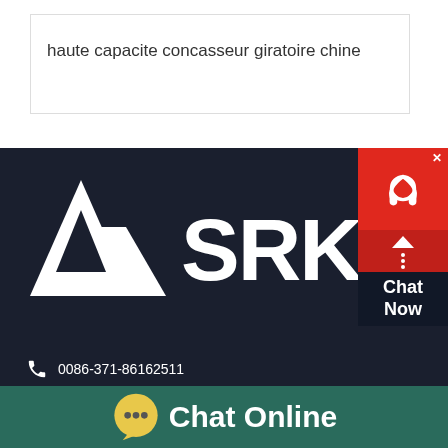haute capacite concasseur giratoire chine
[Figure (logo): SRK logo with triangular mountain icon and text SRK in white on dark navy background]
0086-371-86162511
info@limingco-group.com
[Figure (infographic): Chat Now widget in red and dark box with headset icon on right side]
Chat Online